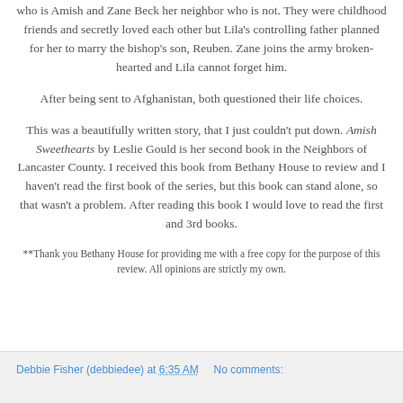who is Amish and Zane Beck her neighbor who is not. They were childhood friends and secretly loved each other but Lila's controlling father planned for her to marry the bishop's son, Reuben. Zane joins the army broken-hearted and Lila cannot forget him.
After being sent to Afghanistan, both questioned their life choices.
This was a beautifully written story, that I just couldn't put down. Amish Sweethearts by Leslie Gould is her second book in the Neighbors of Lancaster County. I received this book from Bethany House to review and I haven't read the first book of the series, but this book can stand alone, so that wasn't a problem. After reading this book I would love to read the first and 3rd books.
**Thank you Bethany House for providing me with a free copy for the purpose of this review. All opinions are strictly my own.
Debbie Fisher (debbiedee) at 6:35 AM   No comments: